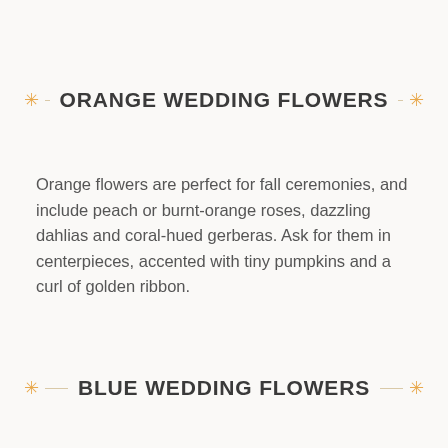ORANGE WEDDING FLOWERS
Orange flowers are perfect for fall ceremonies, and include peach or burnt-orange roses, dazzling dahlias and coral-hued gerberas. Ask for them in centerpieces, accented with tiny pumpkins and a curl of golden ribbon.
BLUE WEDDING FLOWERS